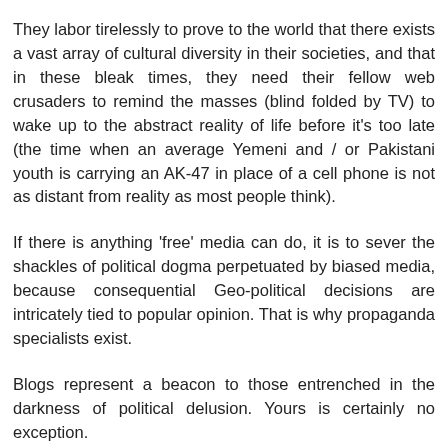They labor tirelessly to prove to the world that there exists a vast array of cultural diversity in their societies, and that in these bleak times, they need their fellow web crusaders to remind the masses (blind folded by TV) to wake up to the abstract reality of life before it's too late (the time when an average Yemeni and / or Pakistani youth is carrying an AK-47 in place of a cell phone is not as distant from reality as most people think).
If there is anything 'free' media can do, it is to sever the shackles of political dogma perpetuated by biased media, because consequential Geo-political decisions are intricately tied to popular opinion. That is why propaganda specialists exist.
Blogs represent a beacon to those entrenched in the darkness of political delusion. Yours is certainly no exception.
My comments are intended to be constructive criticism and I hope you treat them accordingly.